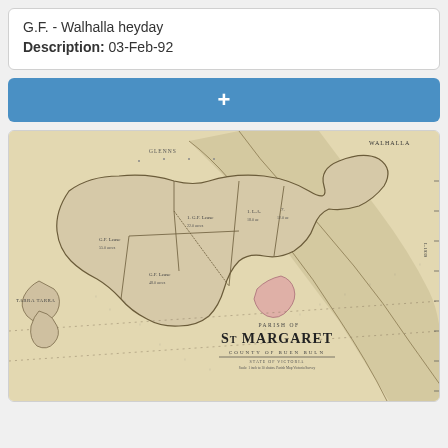G.F. - Walhalla heyday
Description: 03-Feb-92
[Figure (map): Historical cadastral map of Parish of St Margaret, County of Buen Buln, State of Victoria. Shows land parcels, property boundaries, waterways, and topographic features. A pink-shaded area indicates a specific land parcel. Labels include 'Tarra Tarra' on the left side, 'Walhalla' at top right, and a river or creek running diagonally through the map.]